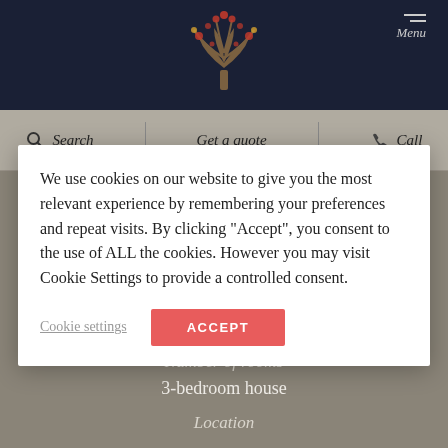[Figure (screenshot): Website screenshot showing a dark navy header with a decorative tree logo and a Menu button, a grey navigation bar with Search, Get a quote, and Call options, a cookie consent modal dialog, and below-fold content showing Number of rooms, 3-bedroom house, and Location labels.]
We use cookies on our website to give you the most relevant experience by remembering your preferences and repeat visits. By clicking “Accept”, you consent to the use of ALL the cookies. However you may visit Cookie Settings to provide a controlled consent.
Cookie settings
ACCEPT
Number of rooms
3-bedroom house
Location